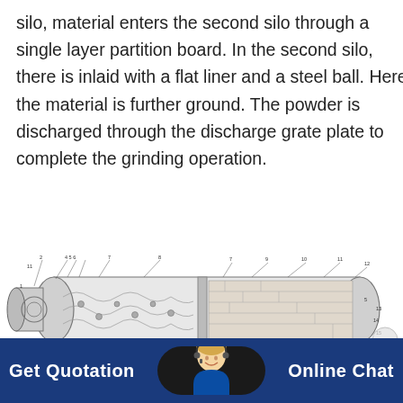silo, material enters the second silo through a single layer partition board. In the second silo, there is inlaid with a flat liner and a steel ball. Here the material is further ground. The powder is discharged through the discharge grate plate to complete the grinding operation.
[Figure (engineering-diagram): Cross-sectional engineering diagram of a cement ball mill showing numbered components (1-15), including the grinding chamber, partition board, discharge grate plate, steel balls, and drive mechanism. A label arrow reads 'Coarse grinding in cement'.]
Coarse grinding in cement
Get Quotation    Online Chat